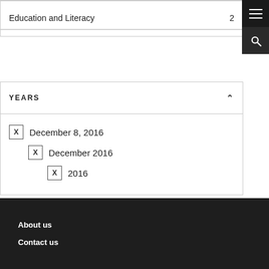| Category | Count |
| --- | --- |
| Education and Literacy | 2 |
YEARS
December 8, 2016
December 2016
2016
About us
Contact us